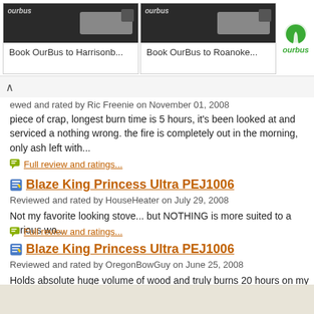[Figure (screenshot): OurBus advertisement banner with two bus booking options: 'Book OurBus to Harrisonb...' and 'Book OurBus to Roanoke...' with OurBus logo]
ewed and rated by Ric Freenie on November 01, 2008
piece of crap, longest burn time is 5 hours, it's been looked at and serviced a nothing wrong. the fire is completely out in the morning, only ash left with...
Full review and ratings...
Blaze King Princess Ultra PEJ1006
Reviewed and rated by HouseHeater on July 29, 2008
Not my favorite looking stove... but NOTHING is more suited to a serious wo...
Full review and ratings...
Blaze King Princess Ultra PEJ1006
Reviewed and rated by OregonBowGuy on June 25, 2008
Holds absolute huge volume of wood and truly burns 20 hours on my oak! I'v... and Princess models are way ahead of the others and burn so clean.
Full review and ratings...